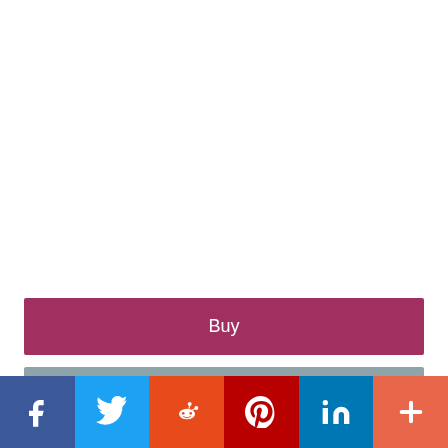Buy
Preview
Amazon  $24.14
BetterWorldBooks  $42.35
[Figure (infographic): Social share bar with Facebook, Twitter, Reddit, Pinterest, LinkedIn, and More (+) buttons]